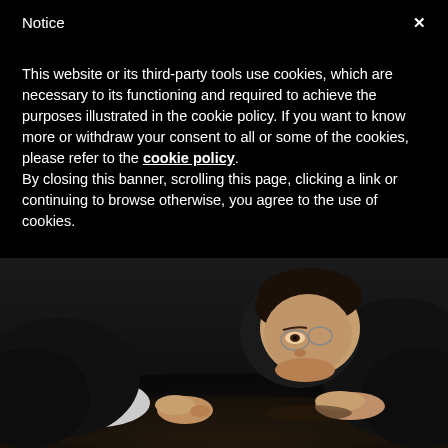Notice
This website or its third-party tools use cookies, which are necessary to its functioning and required to achieve the purposes illustrated in the cookie policy. If you want to know more or withdraw your consent to all or some of the cookies, please refer to the cookie policy.
By closing this banner, scrolling this page, clicking a link or continuing to browse otherwise, you agree to the use of cookies.
[Figure (photo): A man in a dark suit and glasses peering closely at a surface, with his face almost level with a dark table, looking intently with both fists on the table.]